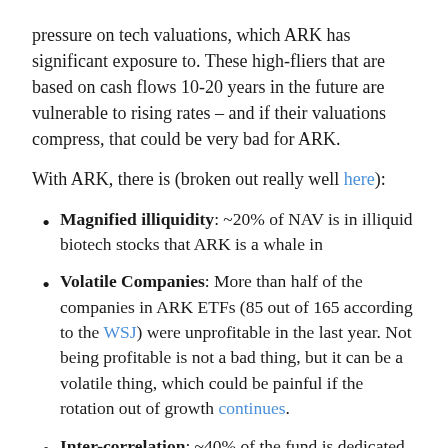pressure on tech valuations, which ARK has significant exposure to. These high-fliers that are based on cash flows 10-20 years in the future are vulnerable to rising rates – and if their valuations compress, that could be very bad for ARK.
With ARK, there is (broken out really well here):
Magnified illiquidity: ~20% of NAV is in illiquid biotech stocks that ARK is a whale in
Volatile Companies: More than half of the companies in ARK ETFs (85 out of 165 according to the WSJ) were unprofitable in the last year. Not being profitable is not a bad thing, but it can be a volatile thing, which could be painful if the rotation out of growth continues.
Inter-correlation: ~40% of the fund is dedicated